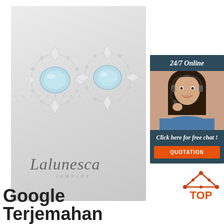[Figure (photo): Lalunesca Jewelry product photo showing two aquamarine and diamond halo stud earrings on a gray card background with script logo and JEWELRY text]
[Figure (photo): Chat widget with '24/7 Online' header, smiling woman with headset, 'Click here for free chat!' text, and orange QUOTATION button]
[Figure (logo): TOP badge with orange triangle/house icon and orange TOP text]
Google Terjemahan